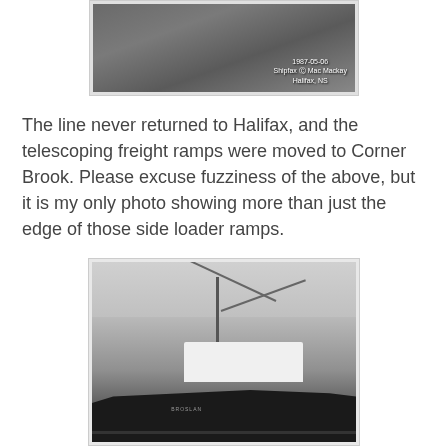[Figure (photo): Black and white photograph of telescoping freight ramps on a ship at dock, watermarked '1987-05-06 Shipfax © Mac Mackay Halifax, NS']
The line never returned to Halifax, and the telescoping freight ramps were moved to Corner Brook. Please excuse fuzziness of the above, but it is my only photo showing more than just the edge of those side loader ramps.
[Figure (photo): Black and white photograph of a cargo ship named BROSLAN at dock, showing the bow, masts, and boom cranes with dock infrastructure visible]